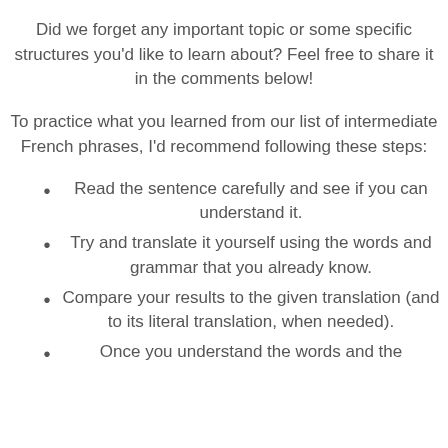Did we forget any important topic or some specific structures you'd like to learn about? Feel free to share it in the comments below!
To practice what you learned from our list of intermediate French phrases, I'd recommend following these steps:
Read the sentence carefully and see if you can understand it.
Try and translate it yourself using the words and grammar that you already know.
Compare your results to the given translation (and to its literal translation, when needed).
Once you understand the words and the